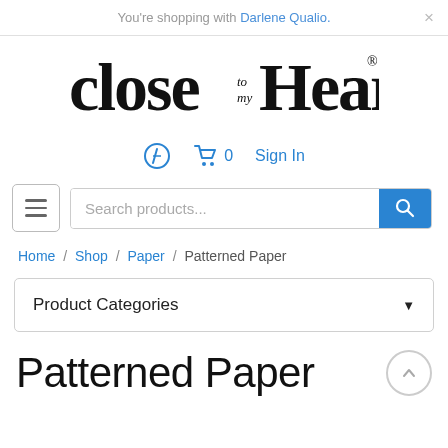You're shopping with Darlene Qualio.
[Figure (logo): Close to my Heart logo in serif font]
[Figure (infographic): Navigation icons: search/compass icon, shopping cart with 0, Sign In link]
[Figure (infographic): Hamburger menu button and search products input with blue search button]
Home / Shop / Paper / Patterned Paper
Product Categories
Patterned Paper